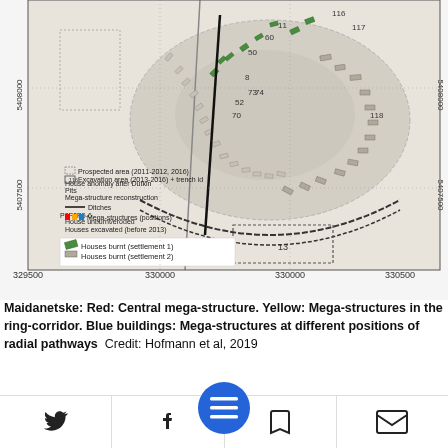[Figure (map): Archaeological site map of Maidanetske showing houses burnt (settlement 1 in green, settlement 2 in grey), houses excavated before 2013, house unburnt/eroded, ditches, mega-structures positions (P2 P3 P5-6), mega-structure reconstruction, pits, house anomaly after Dutkin, excavation areas 2013-2016 with trench IDs, prospected areas 2011-2012/2016. Coordinate grid with x-axis labels 329500, 330000, 330500 and y-axis labels 5408000, 5407500. Various numbered features including 116, 117, 118, 13 etc.]
Maidanetske: Red: Central mega-structure. Yellow: Mega-structures in the ring-corridor. Blue buildings: Mega-structures at different positions of radial pathways  Credit: Hofmann et al, 2019
Empirical anthropolo... research suggests